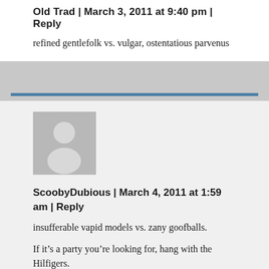Old Trad | March 3, 2011 at 9:40 pm | Reply
refined gentlefolk vs. vulgar, ostentatious parvenus
[Figure (illustration): Gray placeholder avatar silhouette of a person, square shape]
ScoobyDubious | March 4, 2011 at 1:59 am | Reply
insufferable vapid models vs. zany goofballs.

If it’s a party you’re looking for, hang with the Hilfigers.
The BB “party” looks excrutiatingly dull.